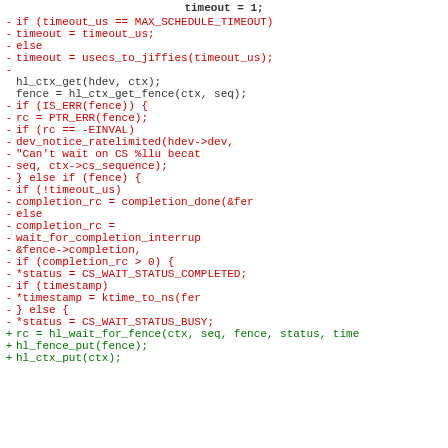timeout = 1;
Code diff showing removed lines (red, marked with -) and added lines (green, marked with +) in a C source file involving timeout, fence, and completion handling logic.